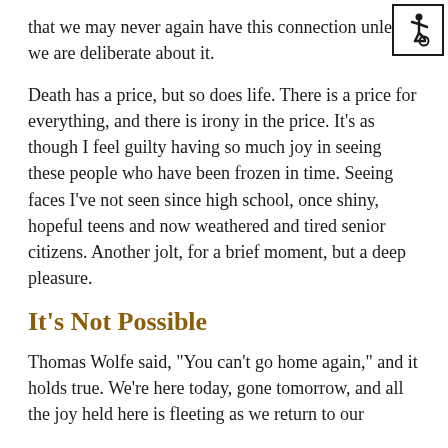that we may never again have this connection unless we are deliberate about it.
[Figure (illustration): Wheelchair accessibility symbol icon in a black-bordered box, top-right corner]
Death has a price, but so does life. There is a price for everything, and there is irony in the price. It’s as though I feel guilty having so much joy in seeing these people who have been frozen in time. Seeing faces I’ve not seen since high school, once shiny, hopeful teens and now weathered and tired senior citizens. Another jolt, for a brief moment, but a deep pleasure.
It’s Not Possible
Thomas Wolfe said, “You can’t go home again,” and it holds true. We’re here today, gone tomorrow, and all the joy held here is fleeting as we return to our